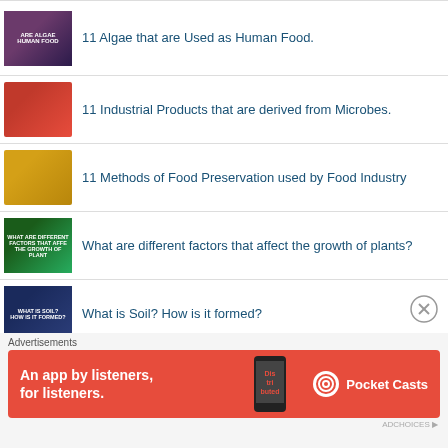11 Industrial Products that are derived from Microbes.
11 Methods of Food Preservation used by Food Industry
What are different factors that affect the growth of plants?
What is Soil? How is it formed?
What is meant by Cellular Totipotency?
Sexual Reproduction - An Important Innovation of the Early Protists.
Advertisements
[Figure (other): Pocket Casts advertisement banner: red background with text 'An app by listeners, for listeners.' and Pocket Casts logo with a phone image showing 'Dis trib uted']